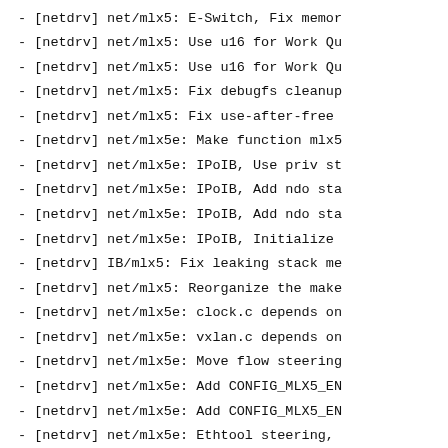- [netdrv] net/mlx5: E-Switch, Fix memor
- [netdrv] net/mlx5: Use u16 for Work Qu
- [netdrv] net/mlx5: Use u16 for Work Qu
- [netdrv] net/mlx5: Fix debugfs cleanup
- [netdrv] net/mlx5: Fix use-after-free
- [netdrv] net/mlx5e: Make function mlx5
- [netdrv] net/mlx5e: IPoIB, Use priv st
- [netdrv] net/mlx5e: IPoIB, Add ndo sta
- [netdrv] net/mlx5e: IPoIB, Add ndo sta
- [netdrv] net/mlx5e: IPoIB, Initialize
- [netdrv] IB/mlx5: Fix leaking stack me
- [netdrv] net/mlx5: Reorganize the make
- [netdrv] net/mlx5e: clock.c depends on
- [netdrv] net/mlx5e: vxlan.c depends on
- [netdrv] net/mlx5e: Move flow steering
- [netdrv] net/mlx5e: Add CONFIG_MLX5_EN
- [netdrv] net/mlx5e: Add CONFIG_MLX5_EN
- [netdrv] net/mlx5e: Ethtool steering,
- [netdrv] net/mlx5: Reduce command poll